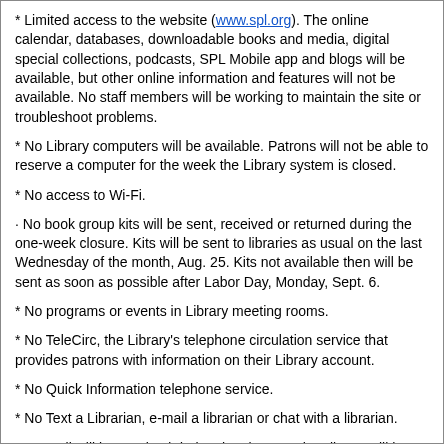* Limited access to the website (www.spl.org). The online calendar, databases, downloadable books and media, digital special collections, podcasts, SPL Mobile app and blogs will be available, but other online information and features will not be available. No staff members will be working to maintain the site or troubleshoot problems.
* No Library computers will be available. Patrons will not be able to reserve a computer for the week the Library system is closed.
* No access to Wi-Fi.
· No book group kits will be sent, received or returned during the one-week closure. Kits will be sent to libraries as usual on the last Wednesday of the month, Aug. 25. Kits not available then will be sent as soon as possible after Labor Day, Monday, Sept. 6.
* No programs or events in Library meeting rooms.
* No TeleCirc, the Library's telephone circulation service that provides patrons with information on their Library account.
* No Quick Information telephone service.
* No Text a Librarian, e-mail a librarian or chat with a librarian.
* No mail will be received during the closure. The Library will have the U.S. Post Office hold all mail until the Library reopens. There will not be staff available to accept deliveries.